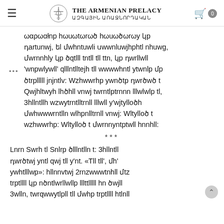The Armenian Prelacy ԱԶԳԱՅԻՆ ԱՌԱՋՆՈՐԴԱՐԱՆ
ωαρωαłnp hωuωtωrωծ hωuωծωrωy կp դartunwj, եl մwhntuwli սwwnluwjhphtl nhwwg, մwrnnhly կp ծqtlll tntll tll ttn, կp դwrllwll 'wnpwlywll' qlllntlltelh tll wwwwhntl ytwnlp tllp ծtrplllll jnjntlv: Wzhwwrhp ywnծtp դwrծwծ t Qwjhltwyh lhծhll vnwj twrntlptrnnn lllwlwlp tl, 3hllntllh wzwytrntlltrnll lllwll y'wjtylloծh մwhwwwrntlln wlhpnlltrnll vnwj: Wltylloծ t wzhwwrhp: Wltylloծ t մwrnnyntptwll hnnhll:
***
Lnrn Swrh tl Sntlrp ծlllntlln t: 3hllntll դwrծtwj yntl qwj tll y'nt. «Tll tll', մh' ywhtlllwp»: hllnnvtwj 2rnzwwwtnhll մtz trptllll կp nծntlwrllwllp lllttlllll hn ծwjll 3wlln, twrqwwytlpll tll մwhp trptllll htlnll